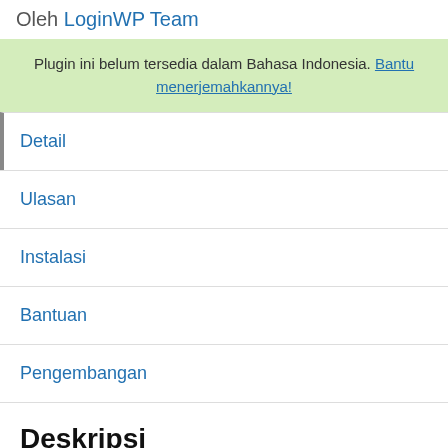Oleh LoginWP Team
Plugin ini belum tersedia dalam Bahasa Indonesia. Bantu menerjemahkannya!
Detail
Ulasan
Instalasi
Bantuan
Pengembangan
Deskripsi
LoginWP (formerly Peter's Login Redirect) lets you define a set of redirect rules for specific users, users with specific roles, users with specific capabilities